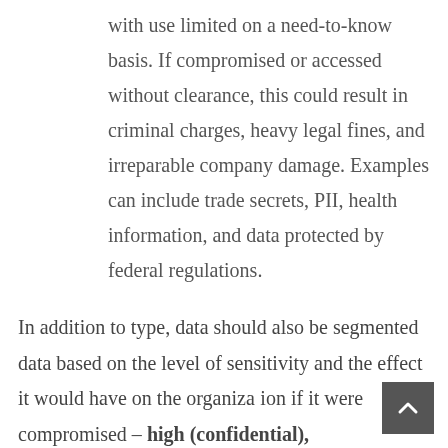with use limited on a need-to-know basis. If compromised or accessed without clearance, this could result in criminal charges, heavy legal fines, and irreparable company damage. Examples can include trade secrets, PII, health information, and data protected by federal regulations.
In addition to type, data should also be segmented data based on the level of sensitivity and the effect it would have on the organization if it were compromised – high (confidential),